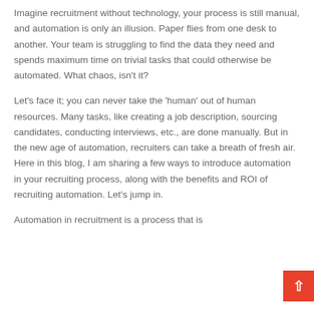Imagine recruitment without technology, your process is still manual, and automation is only an illusion. Paper flies from one desk to another. Your team is struggling to find the data they need and spends maximum time on trivial tasks that could otherwise be automated. What chaos, isn't it?
Let's face it; you can never take the 'human' out of human resources. Many tasks, like creating a job description, sourcing candidates, conducting interviews, etc., are done manually. But in the new age of automation, recruiters can take a breath of fresh air. Here in this blog, I am sharing a few ways to introduce automation in your recruiting process, along with the benefits and ROI of recruiting automation. Let's jump in.
Automation in recruitment is a process that is